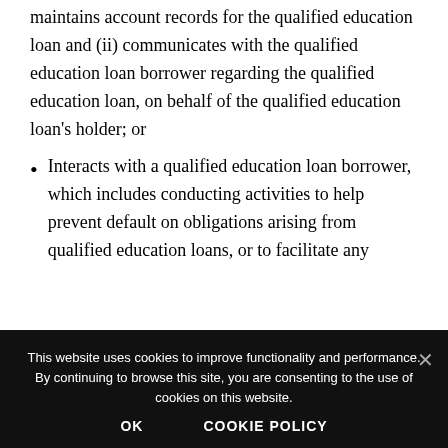maintains account records for the qualified education loan and (ii) communicates with the qualified education loan borrower regarding the qualified education loan, on behalf of the qualified education loan's holder; or
Interacts with a qualified education loan borrower, which includes conducting activities to help prevent default on obligations arising from qualified education loans, or to facilitate any
This website uses cookies to improve functionality and performance. By continuing to browse this site, you are consenting to the use of cookies on this website.
OK   COOKIE POLICY